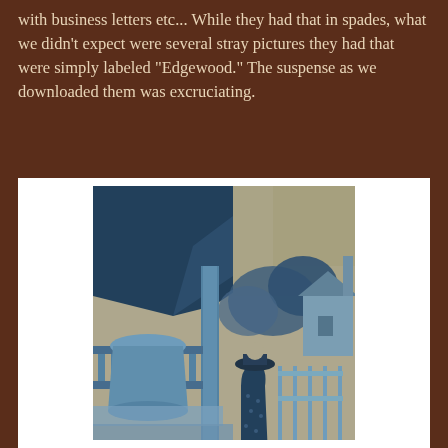with business letters etc... While they had that in spades, what we didn't expect were several stray pictures they had that were simply labeled "Edgewood." The suspense as we downloaded them was excruciating.
[Figure (photo): An antique cyanotype photograph showing a woman in Victorian-era dress with a hat, standing on what appears to be a porch or steps of a building. Trees and a house with a picket fence are visible in the background. The image has the characteristic blue-tinted monochrome appearance of cyanotype photography.]